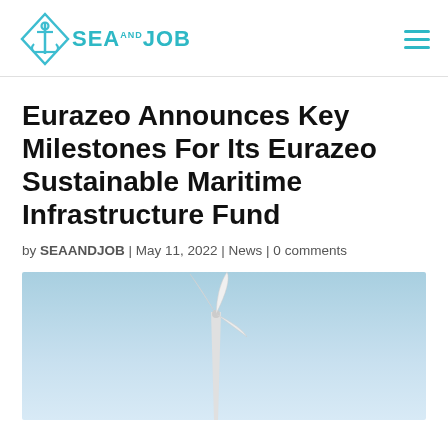SEAANDJOB
Eurazeo Announces Key Milestones For Its Eurazeo Sustainable Maritime Infrastructure Fund
by SEAANDJOB | May 11, 2022 | News | 0 comments
[Figure (photo): Wind turbine against a blue sky, partially visible at the bottom of the page]